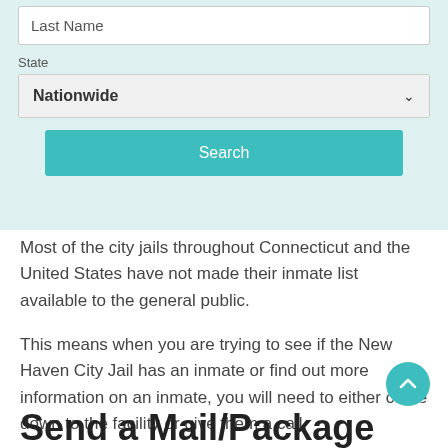[Figure (screenshot): Web form with Last Name input field, State dropdown set to Nationwide, and a teal Search button on a light teal background]
Most of the city jails throughout Connecticut and the United States have not made their inmate list available to the general public.
This means when you are trying to see if the New Haven City Jail has an inmate or find out more information on an inmate, you will need to either come down to the facility or give them a call.
Send a Mail/Package